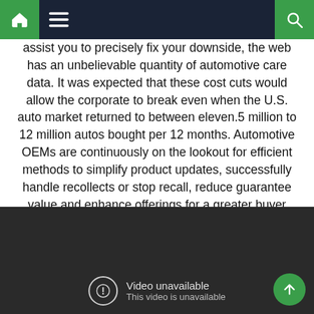Navigation bar with home, menu, and search icons
assist you to precisely fix your downside, the web has an unbelievable quantity of automotive care data. It was expected that these cost cuts would allow the corporate to break even when the U.S. auto market returned to between eleven.5 million to 12 million autos bought per 12 months. Automotive OEMs are continuously on the lookout for efficient methods to simplify product updates, successfully handle recollects or stop recall, reduce guarantee value and enhance offerings for a greater buyer experience.
[Figure (other): Embedded video player showing 'Video unavailable' error message with an exclamation icon and subtitle 'This video is unavailable'. A green scroll-to-top button is visible in the bottom right corner.]